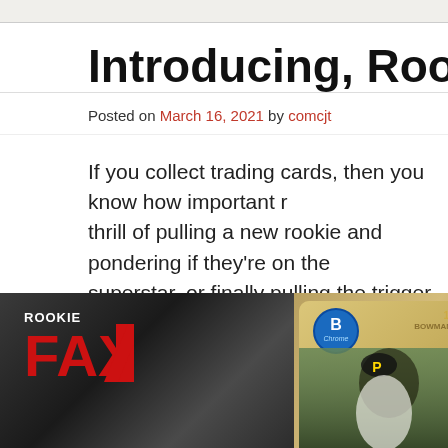Introducing, Rookie FAX
Posted on March 16, 2021 by comcjt
If you collect trading cards, then you know how important r… thrill of pulling a new rookie and pondering if they're on the… superstar, or finally pulling the trigger to acquire an iconic r… player. Rookies, simply put, are a huge part of the magical… is why we're introducing a new, weekly content series calle…
[Figure (photo): Rookie FAX logo on dark geometric background alongside a Bowman Chrome 1st Bowman baseball card featuring a Pittsburgh Pirates player]